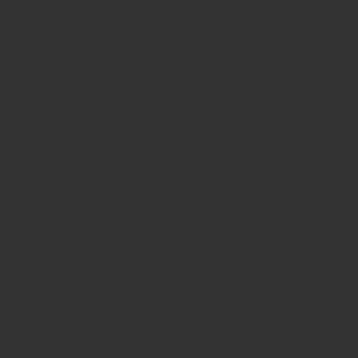[url=http://menrn.narod.ru/diabet-dieta...
[url=http://menrn.narod.ru/dieta-belki-...
[url=http://menrn.narod.ru/pohudet-be...
[url=http://derysan.narod.ru/dieta-90-d...
[url=http://derysan.narod.ru/prigalki-dl...
[url=http://derysan.narod.ru/dieta-pri-y... [/url]
[url=http://derysan.narod.ru/recept-ch... ?????????[/url]
[url=http://derysan.narod.ru/pohudeni...
[url=http://Erwbveabc.narod.ru/cat-6-1... [/url]
[url=http://Erwbveabc.narod.ru/audion... pohudenie.html]????????????? ?????...
[url=http://Erwbveabc.narod.ru/pohud...
[url=http://Erwbveabc.narod.ru/dieti-p...
[url=http://erygfvweat.narod.ru/morkov...
[url=http://erygfvweat.narod.ru/pohud... ?????[/url]
[url=http://erygfvweat.narod.ru/yaichn... ?????[/url]